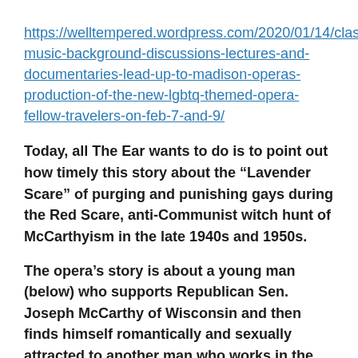https://welltempered.wordpress.com/2020/01/14/classical-music-background-discussions-lectures-and-documentaries-lead-up-to-madison-operas-production-of-the-new-lgbtq-themed-opera-fellow-travelers-on-feb-7-and-9/
Today, all The Ear wants to do is to point out how timely this story about the “Lavender Scare” of purging and punishing gays during the Red Scare, anti-Communist witch hunt of McCarthyism in the late 1940s and 1950s.
The opera’s story is about a young man (below) who supports Republican Sen. Joseph McCarthy of Wisconsin and then finds himself romantically and sexually attracted to another man who works in the State Department under McCarthy’s boss.